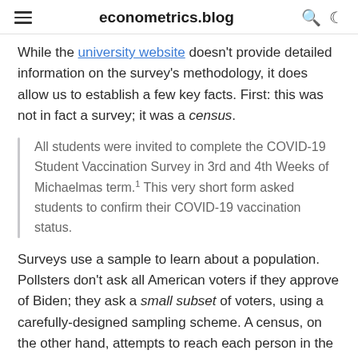econometrics.blog
While the university website doesn't provide detailed information on the survey's methodology, it does allow us to establish a few key facts. First: this was not in fact a survey; it was a census.
All students were invited to complete the COVID-19 Student Vaccination Survey in 3rd and 4th Weeks of Michaelmas term.¹ This very short form asked students to confirm their COVID-19 vaccination status.
Surveys use a sample to learn about a population. Pollsters don't ask all American voters if they approve of Biden; they ask a small subset of voters, using a carefully-designed sampling scheme. A census, on the other hand, attempts to reach each person in the target population